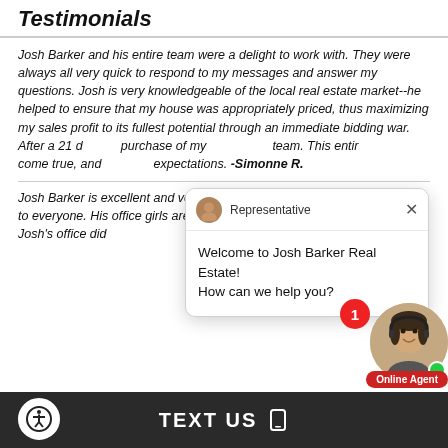Testimonials
Josh Barker and his entire team were a delight to work with. They were always all very quick to respond to my messages and answer my questions. Josh is very knowledgeable of the local real estate market--he helped to ensure that my house was appropriately priced, thus maximizing my sales profit to its fullest potential through an immediate bidding war. After a 21 d... purchase of my... team. This entire... come true, and... expectations. -Simonne R.
[Figure (screenshot): Chat popup widget: Representative avatar, name 'Representative', close X button, message 'Welcome to Josh Barker Real Estate! How can we help you?']
[Figure (photo): Online Agent widget: red badge with '1', photo of a woman with headset, green online dot, red 'Online Agent' label]
Josh Barker is excellent and very personable. I w... recommend him to everyone. His office girls are s... helpful and always professional. Josh's office did ...
TEXT US